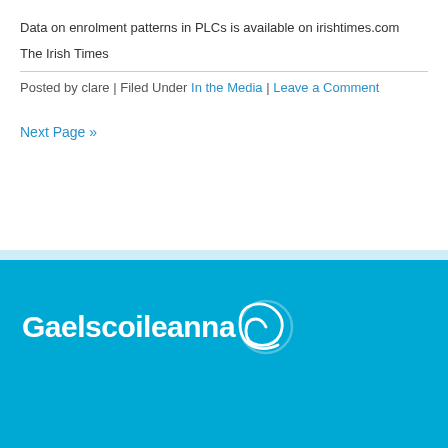Data on enrolment patterns in PLCs is available on irishtimes.com
The Irish Times
Posted by clare | Filed Under In the Media | Leave a Comment
Next Page »
[Figure (logo): Gaelscoileanna logo with white text and spiral symbol on blue background]